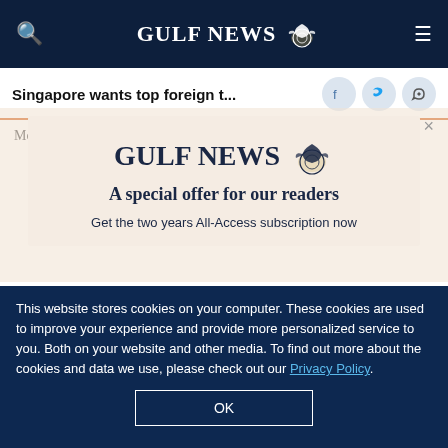GULF NEWS
Singapore wants top foreign t...
A special offer for our readers
Get the two years All-Access subscription now
This website stores cookies on your computer. These cookies are used to improve your experience and provide more personalized service to you. Both on your website and other media. To find out more about the cookies and data we use, please check out our Privacy Policy.
OK